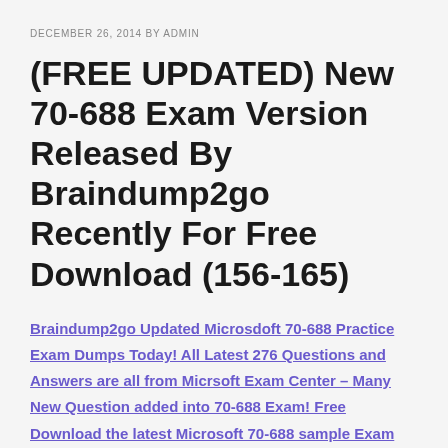DECEMBER 26, 2014 BY ADMIN
(FREE UPDATED) New 70-688 Exam Version Released By Braindump2go Recently For Free Download (156-165)
Braindump2go Updated Microsdoft 70-688 Practice Exam Dumps Today! All Latest 276 Questions and Answers are all from Micrsoft Exam Center – Many New Question added into 70-688 Exam! Free Download the latest Microsoft 70-688 sample Exam Questions from Braindump2go Now!
Vendor: Microsoft